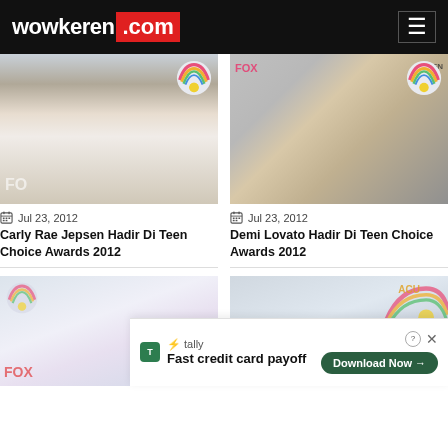wowkeren.com
[Figure (photo): Carly Rae Jepsen at Teen Choice Awards 2012, dark hair, white blazer]
[Figure (photo): Demi Lovato at Teen Choice Awards 2012, blonde highlights, black outfit]
Jul 23, 2012
Jul 23, 2012
Carly Rae Jepsen Hadir Di Teen Choice Awards 2012
Demi Lovato Hadir Di Teen Choice Awards 2012
[Figure (photo): Blonde woman at Teen Choice Awards 2012]
[Figure (photo): Young man at Teen Choice Awards 2012]
[Figure (advertisement): Tally app advertisement - Fast credit card payoff, Download Now button]